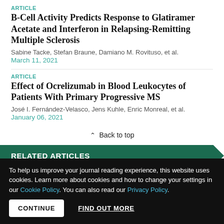ARTICLE
B-Cell Activity Predicts Response to Glatiramer Acetate and Interferon in Relapsing-Remitting Multiple Sclerosis
Sabine Tacke, Stefan Braune, Damiano M. Rovituso, et al.
March 11, 2021
ARTICLE
Effect of Ocrelizumab in Blood Leukocytes of Patients With Primary Progressive MS
José I. Fernández-Velasco, Jens Kuhle, Enric Monreal, et al.
January 06, 2021
▲ Back to top
RELATED ARTICLES
To help us improve your journal reading experience, this website uses cookies. Learn more about cookies and how to change your settings in our Cookie Policy. You can also read our Privacy Policy.
CONTINUE   FIND OUT MORE